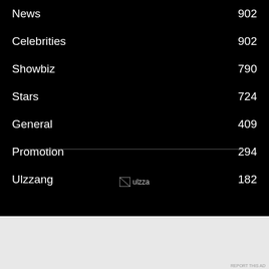News  902
Celebrities  902
Showbiz  790
Stars  724
General  409
Promotion  294
Ulzzang  182
[Figure (logo): Broken image placeholder labeled 'ulzza']
[Figure (screenshot): DuckDuckGo advertisement banner: 'Search, browse, and email with more privacy. All in One Free App' with DuckDuckGo logo on dark right panel]